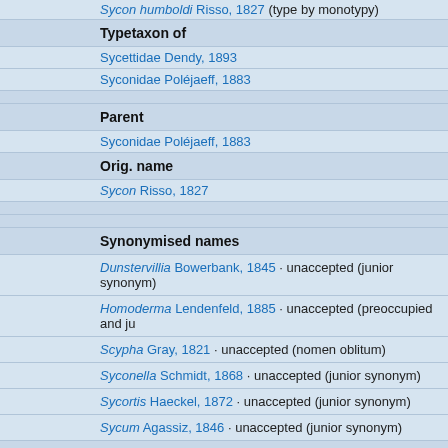Sycon humboldi Risso, 1827 (type by monotypy)
Typetaxon of
Sycettidae Dendy, 1893
Syconidae Poléjaeff, 1883
Parent
Syconidae Poléjaeff, 1883
Orig. name
Sycon Risso, 1827
Synonymised names
Dunstervillia Bowerbank, 1845 · unaccepted (junior synonym)
Homoderma Lendenfeld, 1885 · unaccepted (preoccupied and ju...
Scypha Gray, 1821 · unaccepted (nomen oblitum)
Syconella Schmidt, 1868 · unaccepted (junior synonym)
Sycortis Haeckel, 1872 · unaccepted (junior synonym)
Sycum Agassiz, 1846 · unaccepted (junior synonym)